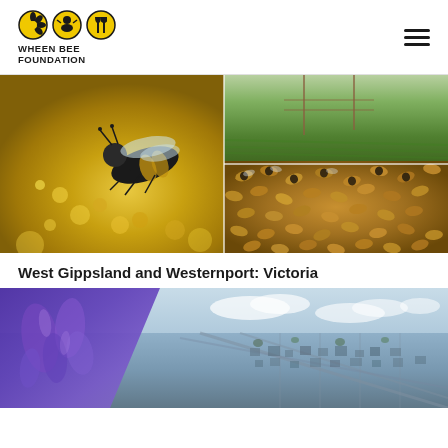[Figure (logo): Wheen Bee Foundation logo with three circular icons (flower, bee character, and fork/knife) above the text WHEEN BEE FOUNDATION]
[Figure (photo): Composite image showing a dark native bee on yellow flowers on the left, a green agricultural field in the top right, and a mass of honeybees in the bottom right]
West Gippsland and Westernport: Victoria
[Figure (photo): Composite image showing purple flowers or plant in the left foreground and an aerial view of a suburban city/town in the right background]